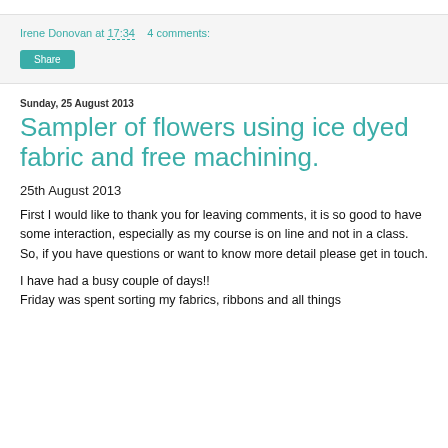Irene Donovan at 17:34   4 comments:
Share
Sunday, 25 August 2013
Sampler of flowers using ice dyed fabric and free machining.
25th August 2013
First I would like to thank you for leaving comments, it is so good to have some interaction, especially as my course is on line and not in a class. So, if you have questions or want to know more detail please get in touch.
I have had a busy couple of days!!
Friday was spent sorting my fabrics, ribbons and all things